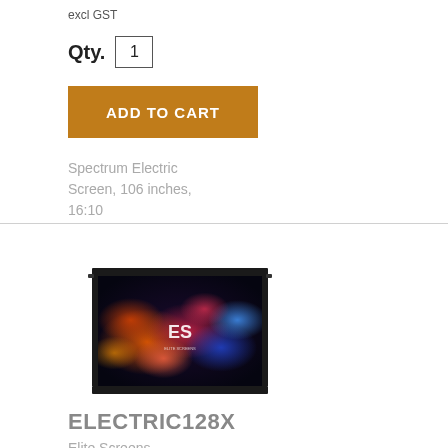excl GST
Qty. 1
ADD TO CART
Spectrum Electric Screen, 106 inches, 16:10
[Figure (photo): Electric projection screen showing colorful bokeh lights with Elite Screens logo]
ELECTRIC128X
Elite Screens